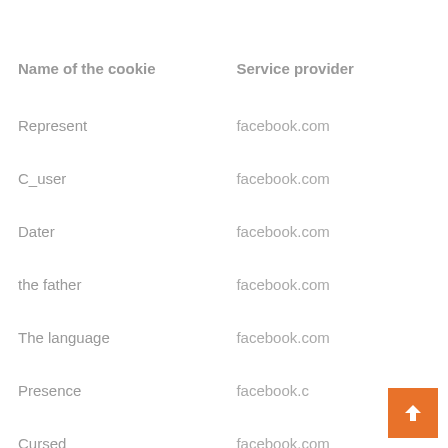| Name of the cookie | Service provider |
| --- | --- |
| Represent | facebook.com |
| C_user | facebook.com |
| Dater | facebook.com |
| the father | facebook.com |
| The language | facebook.com |
| Presence | facebook.com |
| Cursed | facebook.com |